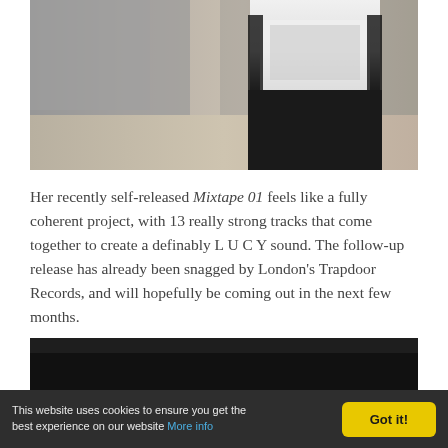[Figure (photo): Photo of a person wearing a graphic t-shirt and black outfit with a backpack, standing in front of a wooden-paneled wall background. The image is cropped showing the torso area.]
Her recently self-released Mixtape 01 feels like a fully coherent project, with 13 really strong tracks that come together to create a definably L U C Y sound. The follow-up release has already been snagged by London's Trapdoor Records, and will hopefully be coming out in the next few months.
[Figure (photo): Bottom portion of a dark/black image, partially visible at the bottom of the page.]
This website uses cookies to ensure you get the best experience on our website More info